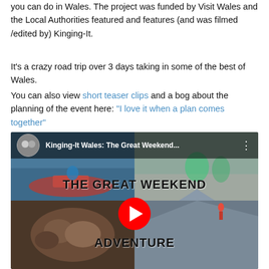you can do in Wales. The project was funded by Visit Wales and the Local Authorities featured and features (and was filmed /edited by) Kinging-It.
It's a crazy road trip over 3 days taking in some of the best of Wales.
You can also view short teaser clips and a bog about the planning of the event here: "I love it when a plan comes together"
[Figure (screenshot): YouTube video thumbnail for 'Kinging-It Wales: The Great Weekend...' showing a collage of outdoor adventure images with a play button overlay and text 'THE GREAT WEEKEND ADVENTURE']